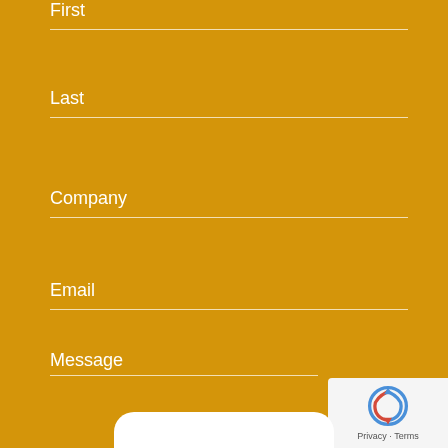First
Last
Company
Email
Message